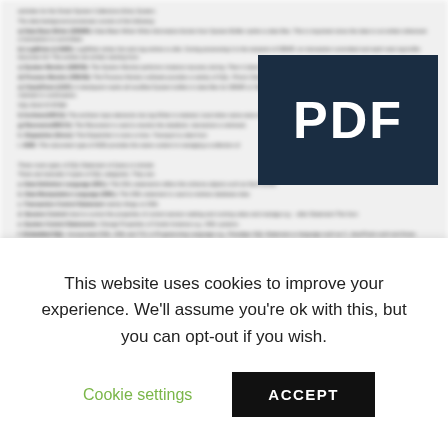[Figure (screenshot): Blurred PDF document page showing text content with definitions and list items, partially obscured by a PDF badge overlay in the top-right corner.]
[Figure (logo): Dark navy blue rectangle with white bold text reading 'PDF' — a PDF file type badge/overlay.]
This website uses cookies to improve your experience. We'll assume you're ok with this, but you can opt-out if you wish.
Cookie settings
ACCEPT